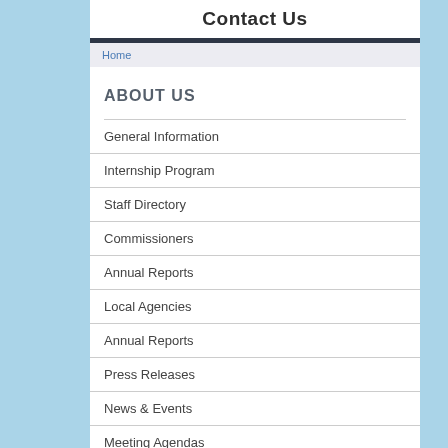Contact Us
Home
ABOUT US
General Information
Internship Program
Staff Directory
Commissioners
Annual Reports
Local Agencies
Annual Reports
Press Releases
News & Events
Meeting Agendas